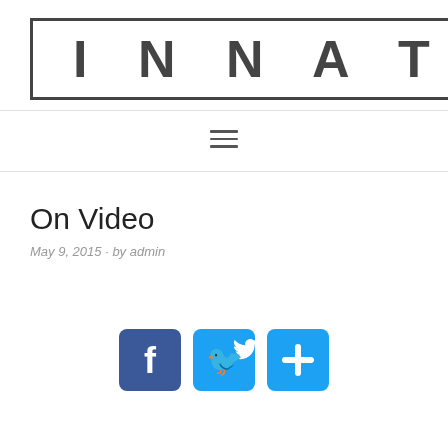INNATE
[Figure (logo): INNATE logo text inside a rectangular border]
≡ navigation menu icon
On Video
May 9, 2015 · by admin
[Figure (infographic): Social sharing icons: Facebook (blue rounded square with f), Twitter (blue rounded square with bird), and a blue rounded square with plus sign]